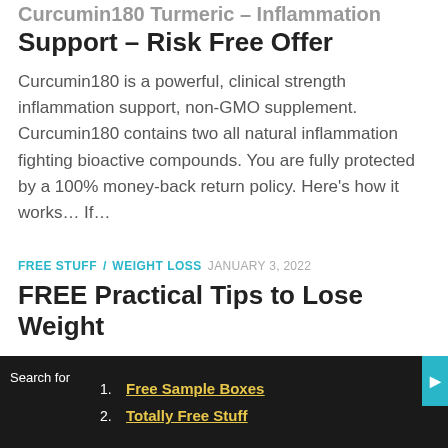Curcumin180 Turmeric – Inflammation Support – Risk Free Offer
Curcumin180 is a powerful, clinical strength inflammation support, non-GMO supplement. Curcumin180 contains two all natural inflammation fighting bioactive compounds. You are fully protected by a 100% money-back return policy. Here's how it works… If…
FREE STUFF / WEIGHT LOSS  JANUARY 3, 2022
FREE Practical Tips to Lose Weight
Losing weight is a priority for most of us. There are lots of diets that help us to shed plans quickly, only to see the weight comeback. We all know that exercise is good…
1. Free Sample Boxes
2. Totally Free Stuff